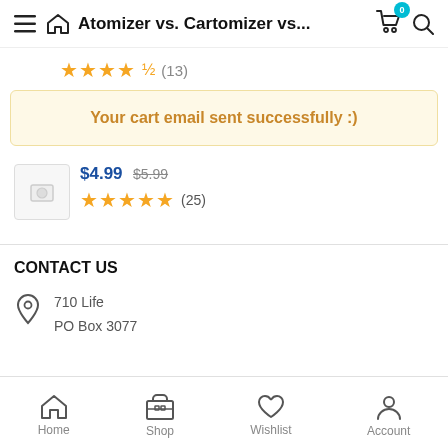Atomizer vs. Cartomizer vs...
★★★★½ (13)
Your cart email sent successfully :)
$4.99 $5.99 ★★★★★ (25)
CONTACT US
710 Life
PO Box 3077
Home  Shop  Wishlist  Account